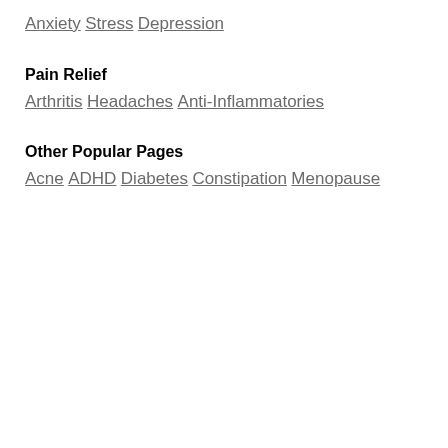Anxiety
Stress
Depression
Pain Relief
Arthritis
Headaches
Anti-Inflammatories
Other Popular Pages
Acne
ADHD
Diabetes
Constipation
Menopause